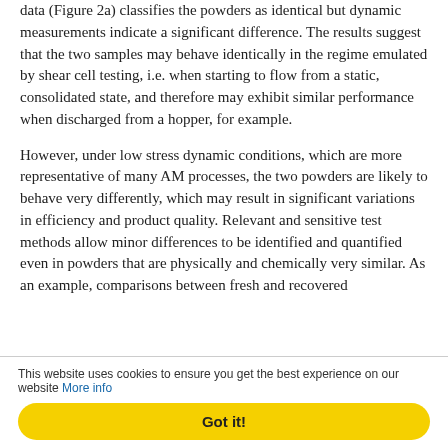data (Figure 2a) classifies the powders as identical but dynamic measurements indicate a significant difference. The results suggest that the two samples may behave identically in the regime emulated by shear cell testing, i.e. when starting to flow from a static, consolidated state, and therefore may exhibit similar performance when discharged from a hopper, for example.
However, under low stress dynamic conditions, which are more representative of many AM processes, the two powders are likely to behave very differently, which may result in significant variations in efficiency and product quality. Relevant and sensitive test methods allow minor differences to be identified and quantified even in powders that are physically and chemically very similar. As an example, comparisons between fresh and recovered
This website uses cookies to ensure you get the best experience on our website More info
Got it!